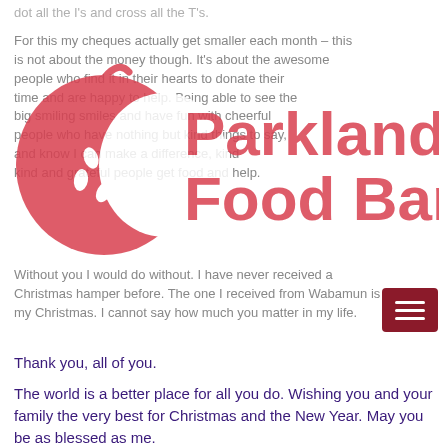dot all the I's and cross all the T's.
For this my cheques actually get smaller each month – this is not about the money though. It's about the awesome people who find it in their hearts to donate their time and are happy to help. Being able to see the big smiling smiles and have fun with cheerful people who have nothing but kind things to say, and know I can make a difference, kind and grateful people get food and help.
[Figure (logo): Parkland Food Bank logo: red apple with a bite taken out on the left, red text reading 'Parkland Food Bank' on the right]
Without you I would do without. I have never received a Christmas hamper before. The one I received from Wabamun is my Christmas. I cannot say how much you matter in my life.
Thank you, all of you.
The world is a better place for all you do. Wishing you and your family the very best for Christmas and the New Year. May you be as blessed as me.